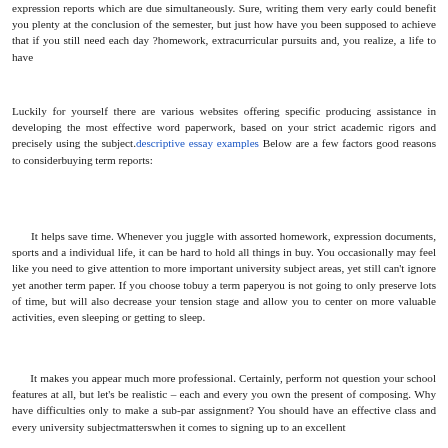expression reports which are due simultaneously. Sure, writing them very early could benefit you plenty at the conclusion of the semester, but just how have you been supposed to achieve that if you still need each day ?homework, extracurricular pursuits and, you realize, a life to have
Luckily for yourself there are various websites offering specific producing assistance in developing the most effective word paperwork, based on your strict academic rigors and precisely using the subject. descriptive essay examples Below are a few factors good reasons to considerbuying term reports:
It helps save time. Whenever you juggle with assorted homework, expression documents, sports and a individual life, it can be hard to hold all things in buy. You occasionally may feel like you need to give attention to more important university subject areas, yet still can't ignore yet another term paper. If you choose tobuy a term paperyou is not going to only preserve lots of time, but will also decrease your tension stage and allow you to center on more valuable activities, even sleeping or getting to sleep.
It makes you appear much more professional. Certainly, perform not question your school features at all, but let's be realistic – each and every you own the present of composing. Why have difficulties only to make a sub-par assignment? You should have an effective class and every university subjectmatterswhen it comes to signing up to an excellent